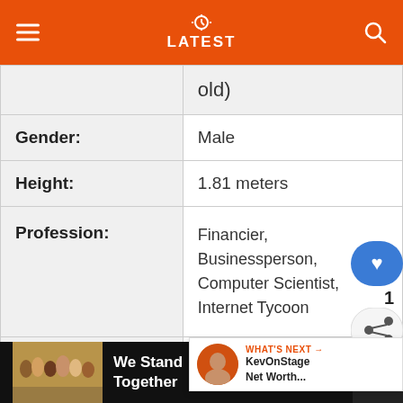LATEST
| Field | Value |
| --- | --- |
|  | old) |
| Gender: | Male |
| Height: | 1.81 meters |
| Profession: | Financier, Businessperson, Computer Scientist, Internet Tycoon |
| Nationality: | United States o... |
[Figure (screenshot): Bottom advertisement banner with 'We Stand Together' text and group photo]
[Figure (screenshot): What's Next overlay with KevOnStage Net Worth thumbnail]
[Figure (screenshot): Floating heart/share action buttons on right side]